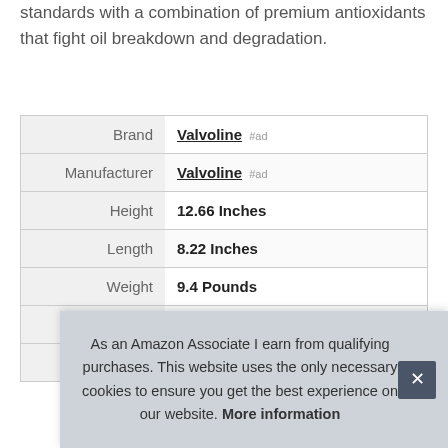standards with a combination of premium antioxidants that fight oil breakdown and degradation.
|  |  |
| --- | --- |
| Brand | Valvoline #ad |
| Manufacturer | Valvoline #ad |
| Height | 12.66 Inches |
| Length | 8.22 Inches |
| Weight | 9.4 Pounds |
| Width | 4.6 Inches |
| Part Number | 881165 |
As an Amazon Associate I earn from qualifying purchases. This website uses the only necessary cookies to ensure you get the best experience on our website. More information